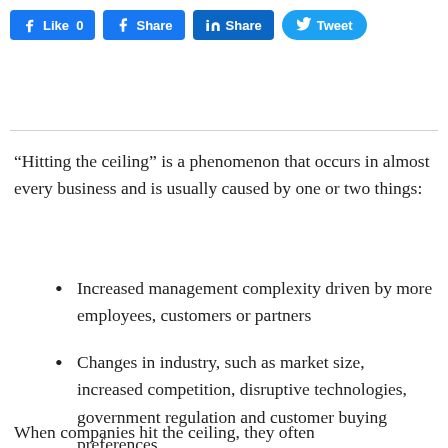[Figure (other): Social media sharing buttons: Facebook Like 0, Facebook Share, LinkedIn Share, Twitter Tweet]
“Hitting the ceiling” is a phenomenon that occurs in almost every business and is usually caused by one or two things:
Increased management complexity driven by more employees, customers or partners
Changes in industry, such as market size, increased competition, disruptive technologies, government regulation and customer buying preferences.
When companies hit the ceiling, they often